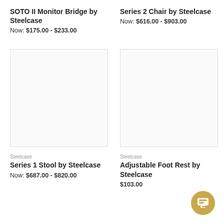SOTO II Monitor Bridge by Steelcase
Now: $175.00 - $233.00
Series 2 Chair by Steelcase
Now: $616.00 - $903.00
[Figure (photo): Empty product image placeholder for Series 1 Stool by Steelcase]
[Figure (photo): Empty product image placeholder for Adjustable Foot Rest by Steelcase]
Steelcase
Series 1 Stool by Steelcase
Now: $687.00 - $820.00
Steelcase
Adjustable Foot Rest by Steelcase
$103.00